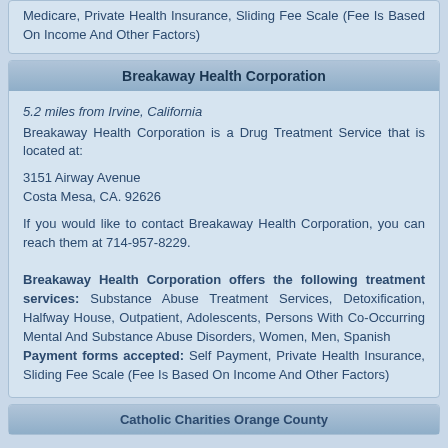Medicare, Private Health Insurance, Sliding Fee Scale (Fee Is Based On Income And Other Factors)
Breakaway Health Corporation
5.2 miles from Irvine, California
Breakaway Health Corporation is a Drug Treatment Service that is located at:

3151 Airway Avenue
Costa Mesa, CA. 92626

If you would like to contact Breakaway Health Corporation, you can reach them at 714-957-8229.

Breakaway Health Corporation offers the following treatment services: Substance Abuse Treatment Services, Detoxification, Halfway House, Outpatient, Adolescents, Persons With Co-Occurring Mental And Substance Abuse Disorders, Women, Men, Spanish
Payment forms accepted: Self Payment, Private Health Insurance, Sliding Fee Scale (Fee Is Based On Income And Other Factors)
Catholic Charities Orange County